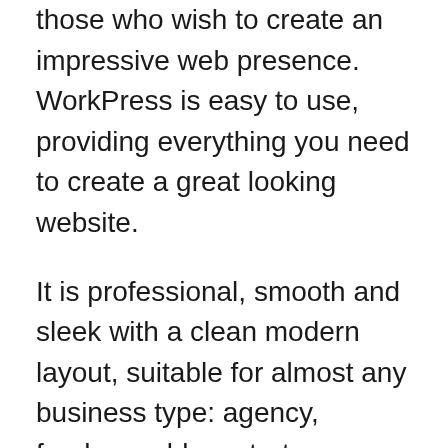those who wish to create an impressive web presence. WorkPress is easy to use, providing everything you need to create a great looking website.
It is professional, smooth and sleek with a clean modern layout, suitable for almost any business type: agency, freelance, blog, startup, portfolio, corporate, food, fashion, law, digital media agency, architecture, real estate, etc.
The theme is developed using the latest Bootstrap CSS framework that makes it friendly for all modern devices like mobiles,